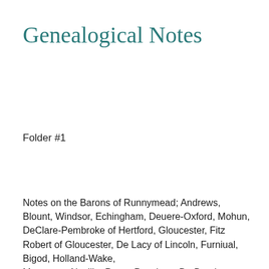Genealogical Notes
Folder #1
Notes on the Barons of Runnymead; Andrews, Blount, Windsor, Echingham, Deuere-Oxford, Mohun, DeClare-Pembroke of Hertford, Gloucester, Fitz Robert of Gloucester, De Lacy of Lincoln, Furniual, Bigod, Holland-Wake,
Montague, Neville, Percy, Poynings, De Burgh, Beauchamp, Warwick,